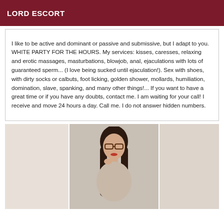LORD ESCORT
I like to be active and dominant or passive and submissive, but I adapt to you. WHITE PARTY FOR THE HOURS. My services: kisses, caresses, relaxing and erotic massages, masturbations, blowjob, anal, ejaculations with lots of guaranteed sperm... (I love being sucked until ejaculation!). Sex with shoes, with dirty socks or calbuts, foot licking, golden shower, mollards, humiliation, domination, slave, spanking, and many other things!... If you want to have a great time or if you have any doubts, contact me. I am waiting for your call! I receive and move 24 hours a day. Call me. I do not answer hidden numbers.
[Figure (photo): Photo of a woman with dark hair and glasses, taken indoors in front of what appears to be a mirrored or paneled background.]